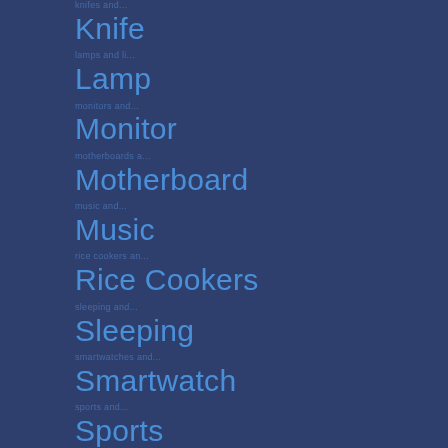Knife
Lamp
Monitor
Motherboard
Music
Rice Cookers
Sleeping
Smartwatch
Sports
Tennis
Uncategorized
Vacuum Devices
Winter